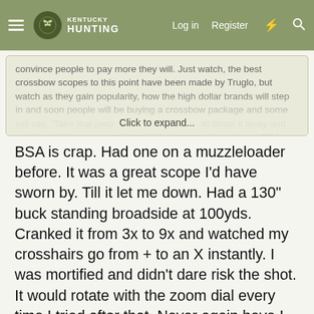Kentucky Hunting — Log in | Register
convince people to pay more they will. Just watch, the best crossbow scopes to this point have been made by Truglo, but watch as they gain popularity, how the high dollar brands will step in and soon people will be buying a crossbow package and some will say, "Take that piece of crap Truglo off and throw it away and put (insert big name scope) on it." I can remember when a BSA was a hot... Click to expand...
BSA is crap. Had one on a muzzleloader before. It was a great scope I'd have sworn by. Till it let me down. Had a 130" buck standing broadside at 100yds. Cranked it from 3x to 9x and watched my crosshairs go from + to an X instantly. I was mortified and didn't dare risk the shot. It would rotate with the zoom dial every time I tried after that. Never again have I purchased anything below a Nikon or Bushnell Elite. Now everything I own has either Weaver Grand Slams or Leupold on them.
👍 1wildcatfan and JR in KY